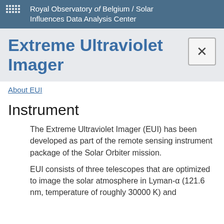Royal Observatory of Belgium / Solar Influences Data Analysis Center
Extreme Ultraviolet Imager
About EUI
Instrument
The Extreme Ultraviolet Imager (EUI) has been developed as part of the remote sensing instrument package of the Solar Orbiter mission.
EUI consists of three telescopes that are optimized to image the solar atmosphere in Lyman-α (121.6 nm, temperature of roughly 30000 K) and